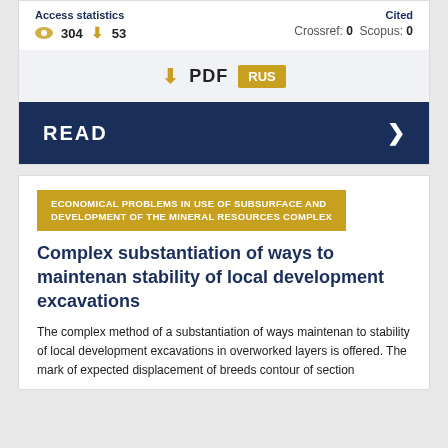Access statistics
304  53
Cited
Crossref: 0  Scopus: 0
PDF  RUS
READ
ECONOMICAL PROBLEMS IN USE OF SUBSURFACE AND DEVELOPMENT OF THE MINERAL RESOURCES COMPLEX
Complex substantiation of ways to maintenan stability of local development excavations
The complex method of a substantiation of ways maintenan to stability of local development excavations in overworked layers is offered. The mark of expected displacement of breeds contour of section